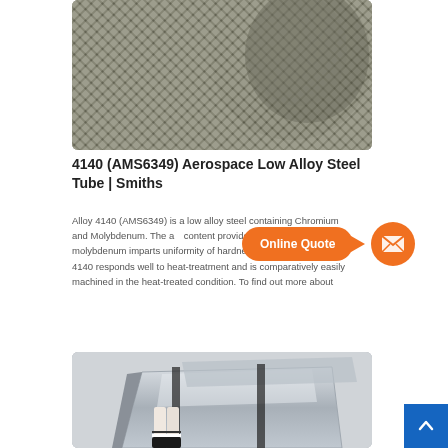[Figure (photo): Close-up photo of a roll of woven metal mesh/screen material (steel wire mesh), showing diagonal weave pattern]
4140 (AMS6349) Aerospace Low Alloy Steel Tube | Smiths
Alloy 4140 (AMS6349) is a low alloy steel containing Chromium and Molybdenum. The a... content provides good hardness pe... molybdenum imparts uniformity of hardness and high strength. 4140 responds well to heat-treatment and is comparatively easily machined in the heat-treated condition. To find out more about
[Figure (photo): Photo of large metal plates/sheets stacked, with a person's legs visible in the background]